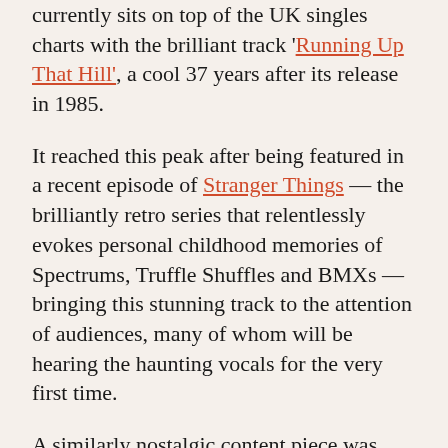currently sits on top of the UK singles charts with the brilliant track 'Running Up That Hill', a cool 37 years after its release in 1985.
It reached this peak after being featured in a recent episode of Stranger Things — the brilliantly retro series that relentlessly evokes personal childhood memories of Spectrums, Truffle Shuffles and BMXs — bringing this stunning track to the attention of audiences, many of whom will be hearing the haunting vocals for the very first time.
A similarly nostalgic content piece was launched last month as part of the Palace X CK One collaboration, a brilliantly self-referential film, featuring everyone from